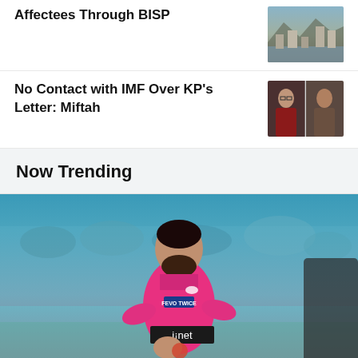Affectees Through BISP
[Figure (photo): Flood affected area with buildings and muddy water]
No Contact with IMF Over KP's Letter: Miftah
[Figure (photo): Two men in a split photo, likely politicians]
Now Trending
[Figure (photo): Cricket player in pink Sydney Sixers jersey with inet sponsor logo, holding a ball, stadium crowd in background]